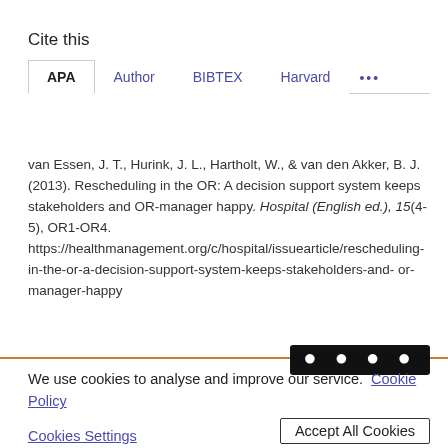Cite this
APA | Author | BIBTEX | Harvard | ...
van Essen, J. T., Hurink, J. L., Hartholt, W., & van den Akker, B. J. (2013). Rescheduling in the OR: A decision support system keeps stakeholders and OR-manager happy. Hospital (English ed.), 15(4-5), OR1-OR4. https://healthmanagement.org/c/hospital/issuearticle/rescheduling-in-the-or-a-decision-support-system-keeps-stakeholders-and-or-manager-happy
We use cookies to analyse and improve our service. Cookie Policy
Cookies Settings
Accept All Cookies